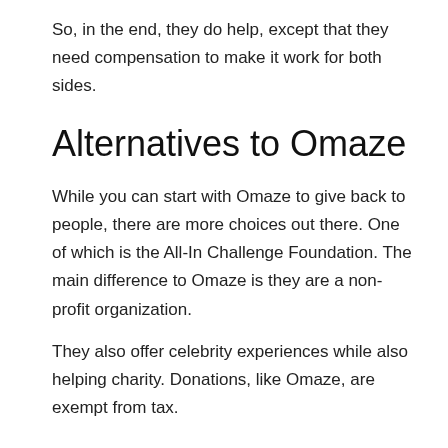So, in the end, they do help, except that they need compensation to make it work for both sides.
Alternatives to Omaze
While you can start with Omaze to give back to people, there are more choices out there. One of which is the All-In Challenge Foundation. The main difference to Omaze is they are a non-profit organization.
They also offer celebrity experiences while also helping charity. Donations, like Omaze, are exempt from tax.
Conclusion
Omaze offers a great way to help people. While it is not needed to donate cash, you can still participate in their sweepstakes. Each donation will benefit the charities they've partnered up with. All